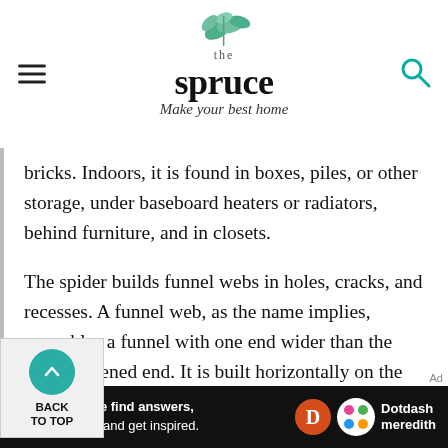the spruce — Make your best home
bricks. Indoors, it is found in boxes, piles, or other storage, under baseboard heaters or radiators, behind furniture, and in closets.
The spider builds funnel webs in holes, cracks, and recesses. A funnel web, as the name implies, resembles a funnel with one end wider than the other flattened end. It is built horizontally on the ground or into piles, or attached to stationary structures
We help people find answers, solve problems and get inspired. Dotdash meredith